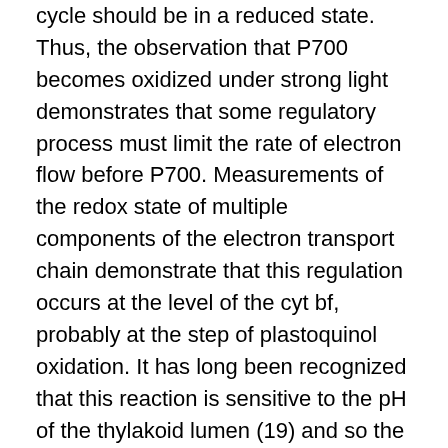cycle should be in a reduced state. Thus, the observation that P700 becomes oxidized under strong light demonstrates that some regulatory process must limit the rate of electron flow before P700. Measurements of the redox state of multiple components of the electron transport chain demonstrate that this regulation occurs at the level of the cyt bf, probably at the step of plastoquinol oxidation. It has long been recognized that this reaction is sensitive to the pH of the thylakoid lumen (19) and so the generation of a pH gradient may lead to a slowing of electron flow through the cyt bf complex. Johnson (20) presented evidence that the cyt bf is also sensitive to redox poise in the physiologically relevant range, and work from Hald et al. (21) led to the proposal that it is specifically the redox poise of the NADP/H pool that is responsible for regulation of cyt bf in vivo. Regulation of electron transport before PSI prevents the overreduction of